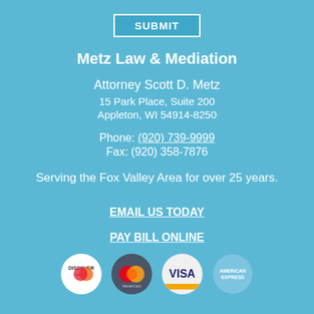[Figure (other): SUBMIT button with teal background and white border]
Metz Law & Mediation
Attorney Scott D. Metz
15 Park Place, Suite 200
Appleton, WI 54914-8250
Phone: (920) 739-9999
Fax: (920) 358-7876
Serving the Fox Valley Area for over 25 years.
EMAIL US TODAY
PAY BILL ONLINE
[Figure (logo): Four payment card logos: Discover, MasterCard, Visa, American Express]